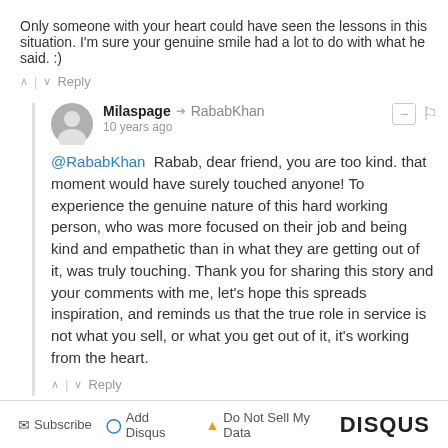Only someone with your heart could have seen the lessons in this situation. I'm sure your genuine smile had a lot to do with what he said. :)
^ | v  Reply
Milaspage → RababKhan
10 years ago
@RababKhan  Rabab, dear friend, you are too kind. that moment would have surely touched anyone! To experience the genuine nature of this hard working person, who was more focused on their job and being kind and empathetic than in what they are getting out of it, was truly touching. Thank you for sharing this story and your comments with me, let's hope this spreads inspiration, and reminds us that the true role in service is not what you sell, or what you get out of it, it's working from the heart.
^ | v  Reply
Subscribe  Add Disqus  Do Not Sell My Data   DISQUS